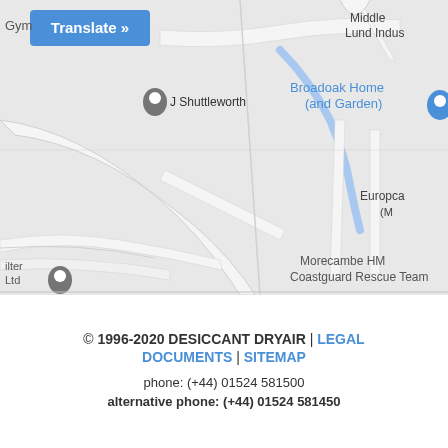[Figure (map): Google Maps screenshot showing Morecambe area with location pins for J Shuttleworth, Broadoak Home (and Garden), Europcars, Filter Ltd, and Functionals, Volkswagen dealer, Morecambe HM Coastguard Rescue Team, Lancaster Automart, Euro Car Parts Morecambe, Mazuma, Middle Lund Industrial area. A blue 'Translate »' button appears in the top left corner. Roads and paths visible on a light grey map background.]
© 1996-2020 DESICCANT DRYAIR | LEGAL DOCUMENTS | SITEMAP
phone: (+44) 01524 581500
alternative phone: (+44) 01524 581450